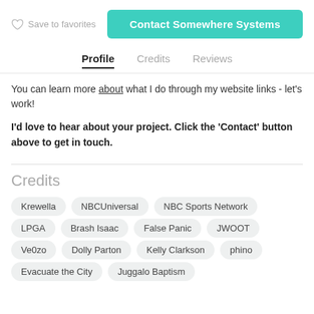Save to favorites
Contact Somewhere Systems
Profile  Credits  Reviews
You can learn more about what I do through my website links - let's work!
I'd love to hear about your project. Click the 'Contact' button above to get in touch.
Credits
Krewella
NBCUniversal
NBC Sports Network
LPGA
Brash Isaac
False Panic
JWOOT
Ve0zo
Dolly Parton
Kelly Clarkson
phino
Evacuate the City
Juggalo Baptism